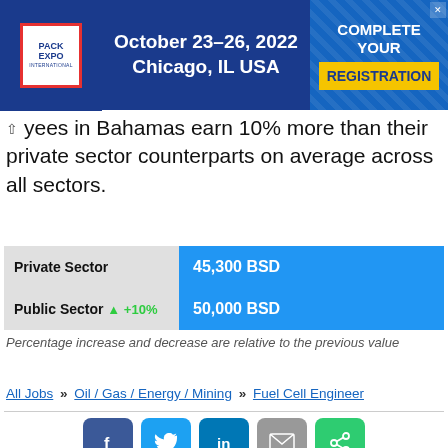[Figure (other): PACK EXPO International 2022 advertisement banner. Text: October 23-26, 2022, Chicago, IL USA. Button: COMPLETE YOUR REGISTRATION]
yees in Bahamas earn 10% more than their private sector counterparts on average across all sectors.
| Sector | Value |
| --- | --- |
| Private Sector | 45,300 BSD |
| Public Sector +10% | 50,000 BSD |
Percentage increase and decrease are relative to the previous value
All Jobs » Oil / Gas / Energy / Mining » Fuel Cell Engineer
[Figure (other): Social sharing buttons: Facebook, Twitter, LinkedIn, Email, Share]